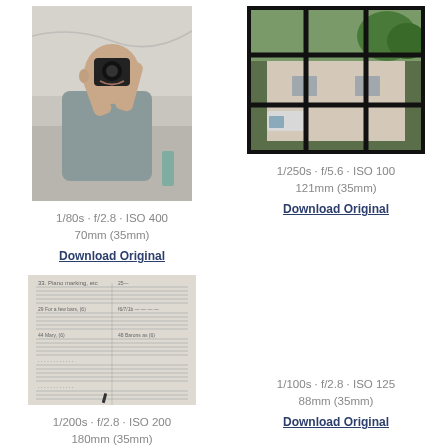[Figure (photo): Man holding a camera up to his face taking a photo, standing in what appears to be a bathroom]
1/80s · f/2.8 · ISO 400
70mm (35mm)
Download Original
[Figure (photo): View through a window with grid panes looking out at a house and trees]
1/250s · f/5.6 · ISO 100
121mm (35mm)
Download Original
[Figure (photo): Sheet music or handwritten notes on paper]
1/200s · f/2.8 · ISO 200
180mm (35mm)
Download Original
1/100s · f/2.8 · ISO 125
88mm (35mm)
Download Original